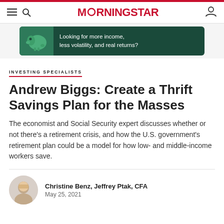MORNINGSTAR
[Figure (illustration): Advertisement banner with piggy bank illustration on green background. Text: 'Looking for more income, less volatility, and real returns?']
INVESTING SPECIALISTS
Andrew Biggs: Create a Thrift Savings Plan for the Masses
The economist and Social Security expert discusses whether or not there's a retirement crisis, and how the U.S. government's retirement plan could be a model for how low- and middle-income workers save.
Christine Benz, Jeffrey Ptak, CFA
May 25, 2021